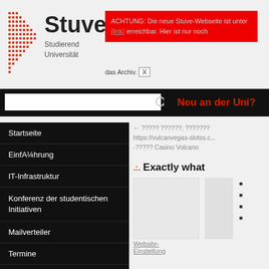[Figure (logo): Stuve dot-grid logo and university name: Stuve, Studierendenvertretung Universität]
ACHTUNG: Die neue Stuve-Webseite ist unter [link] erreichbar. Hier ist nur noch das Archiv. X
[Figure (screenshot): Search bar with magnifying glass icon and 'Neu an der Uni?' navigation button]
Startseite
Einführung
IT-Infrastruktur
Konferenz der studentischen Initiativen
Mailverteiler
Termine
Studierendenvertretung
Referate & Arbeitskreise
← ????? ??????, ????????
https://vulcanvegas-slotss.c...-????? Casino Volcano
Exactly what
[Figure (photo): Two image placeholders below section header]
Website-Einstellung